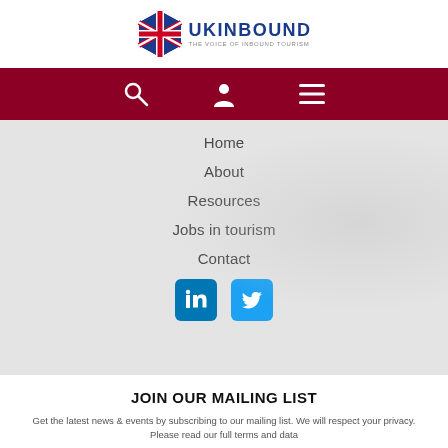[Figure (logo): UKinbound logo - British flag hexagon icon with 'UKINBOUND THE VOICE OF INBOUND TOURISM' text]
[Figure (infographic): Dark red navigation bar with search icon, user/person icon, and hamburger menu icon in white]
Home
About
Resources
Jobs in tourism
Contact
[Figure (infographic): LinkedIn and Twitter social media icon buttons]
JOIN OUR MAILING LIST
Get the latest news & events by subscribing to our mailing list. We will respect your privacy. Please read our full terms and data